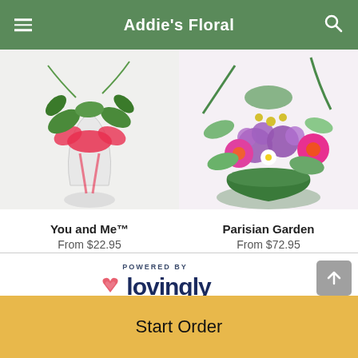Addie's Floral
[Figure (photo): Floral product: You and Me - a clear glass vase with flowers and a red ribbon bow]
You and Me™
From $22.95
[Figure (photo): Floral product: Parisian Garden - a green bowl with purple roses, pink gerbera daisies, and mixed flowers]
Parisian Garden
From $72.95
[Figure (logo): Lovingly logo with pink heart icon and dark blue text 'lovingly', above text 'POWERED BY']
Start Order